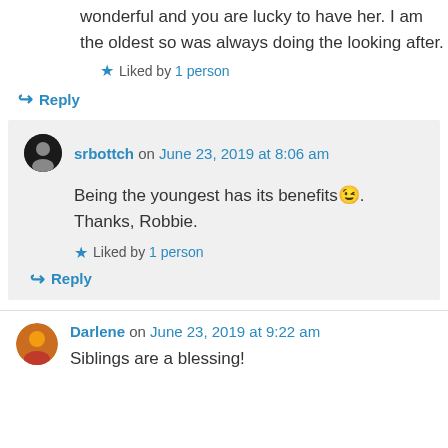wonderful and you are lucky to have her. I am the oldest so was always doing the looking after.
★ Liked by 1 person
↪ Reply
srbottch on June 23, 2019 at 8:06 am
Being the youngest has its benefits 😉. Thanks, Robbie.
★ Liked by 1 person
↪ Reply
Darlene on June 23, 2019 at 9:22 am
Siblings are a blessing!